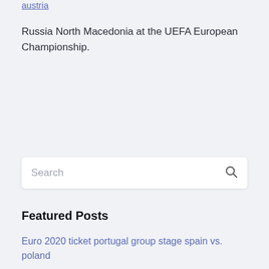austria
Russia North Macedonia at the UEFA European Championship.
Search
Featured Posts
Euro 2020 ticket portugal group stage spain vs. poland